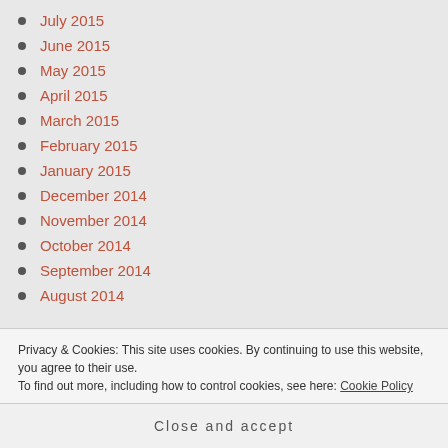July 2015
June 2015
May 2015
April 2015
March 2015
February 2015
January 2015
December 2014
November 2014
October 2014
September 2014
August 2014
Privacy & Cookies: This site uses cookies. By continuing to use this website, you agree to their use. To find out more, including how to control cookies, see here: Cookie Policy
Close and accept